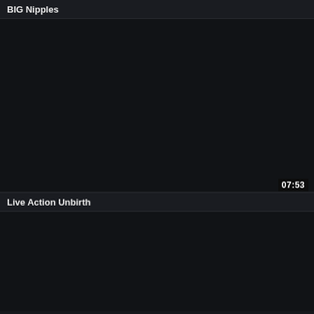BIG Nipples
[Figure (screenshot): Dark/black video thumbnail for 'BIG Nipples' with duration badge showing 07:53 in bottom right corner]
Live Action Unbirth
[Figure (screenshot): Dark/black video thumbnail for 'Live Action Unbirth']